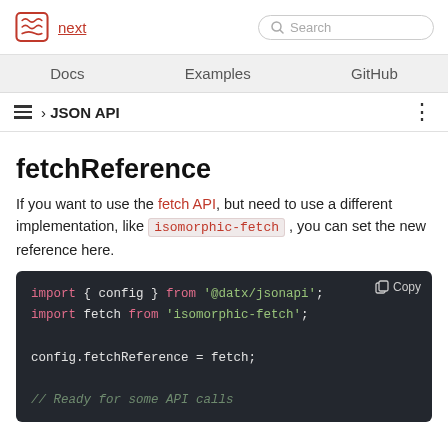next | Search
Docs | Examples | GitHub
› JSON API
fetchReference
If you want to use the fetch API, but need to use a different implementation, like isomorphic-fetch , you can set the new reference here.
import { config } from '@datx/jsonapi';
import fetch from 'isomorphic-fetch';

config.fetchReference = fetch;

// Ready for some API calls